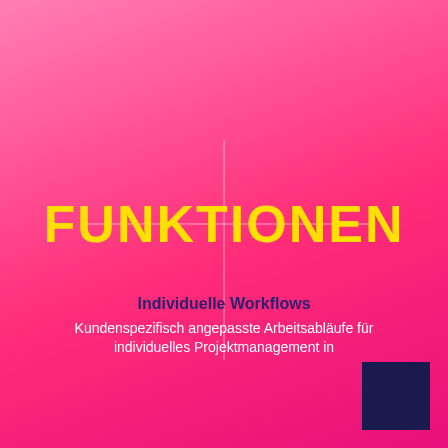FUNKTIONEN
Individuelle Workflows
Kundenspezifisch angepasste Arbeitsabläufe für individuelles Projektmanagement in